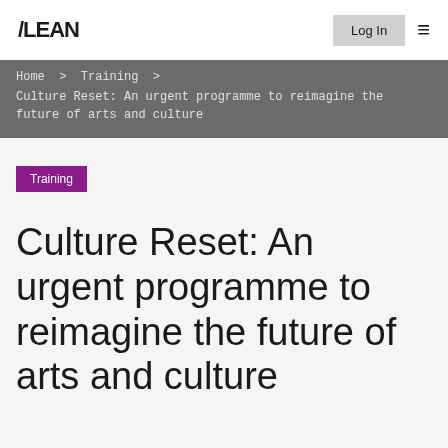/LEAN
Log In
Home > Training > Culture Reset: An urgent programme to reimagine the future of arts and culture
Training
Culture Reset: An urgent programme to reimagine the future of arts and culture